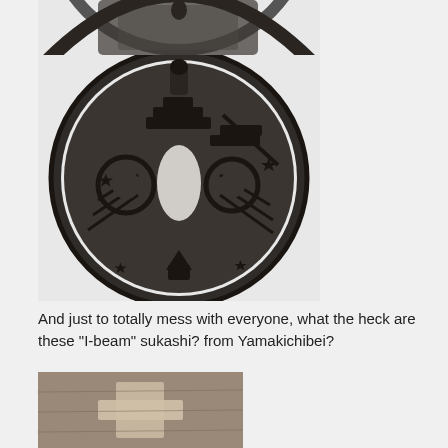[Figure (photo): Top portion of a circular Japanese tsuba (sword guard) with decorative pierced metalwork design, cropped at top of image showing partial circular rim]
[Figure (photo): A circular Japanese tsuba (sword guard) made of dark iron/metal, featuring complex sukashi (pierced) openwork design with geometric and naturalistic motifs including stars, diagonal lines, and a central opening for the blade. Photographed against a white background.]
And just to totally mess with everyone, what the heck are these "I-beam" sukashi? from Yamakichibei?
[Figure (photo): Bottom partial image showing a brownish-gray textured Japanese tsuba with I-beam shaped sukashi openwork, cropped at bottom of page]